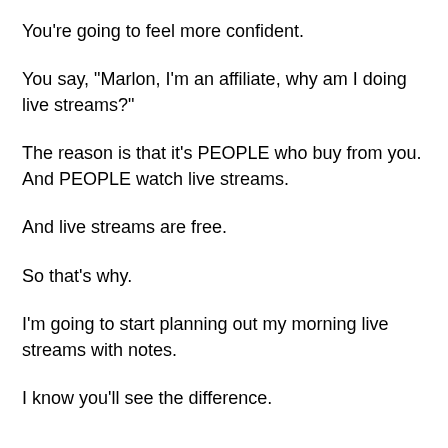You're going to feel more confident.
You say, "Marlon, I'm an affiliate, why am I doing live streams?"
The reason is that it's PEOPLE who buy from you. And PEOPLE watch live streams.
And live streams are free.
So that's why.
I'm going to start planning out my morning live streams with notes.
I know you'll see the difference.